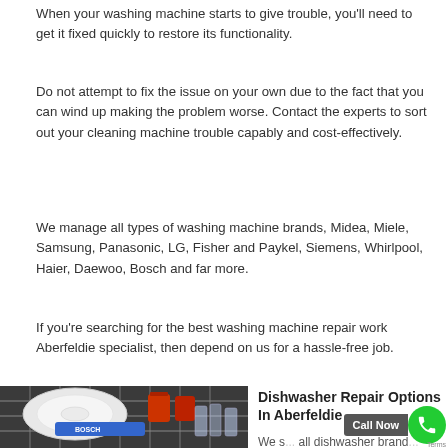When your washing machine starts to give trouble, you'll need to get it fixed quickly to restore its functionality.
Do not attempt to fix the issue on your own due to the fact that you can wind up making the problem worse. Contact the experts to sort out your cleaning machine trouble capably and cost-effectively.
We manage all types of washing machine brands, Midea, Miele, Samsung, Panasonic, LG, Fisher and Paykel, Siemens, Whirlpool, Haier, Daewoo, Bosch and far more.
If you're searching for the best washing machine repair work Aberfeldie specialist, then depend on us for a hassle-free job.
[Figure (photo): Photo of dishwasher interior loaded with dishes, plates, cups and glasses with a blue rack component visible and a BOSCH label.]
Dishwasher Repair Options In Aberfeldie
We s... all dishwasher brand... Samsung, Fisher and